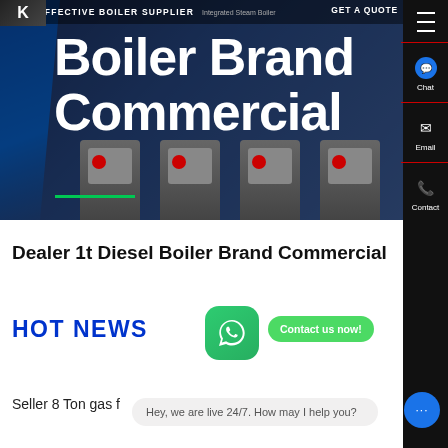[Figure (screenshot): Hero banner image of industrial boiler equipment with dark blue background and machinery units]
COST-EFFECTIVE BOILER SUPPLIER
Boiler Brand Commercial
GET A QUOTE
Dealer 1t Diesel Boiler Brand Commercial
HOT NEWS
Contact us now!
Seller 8 Ton gas f...
Hey, we are live 24/7. How may I help you?
Chat
Email
Contact